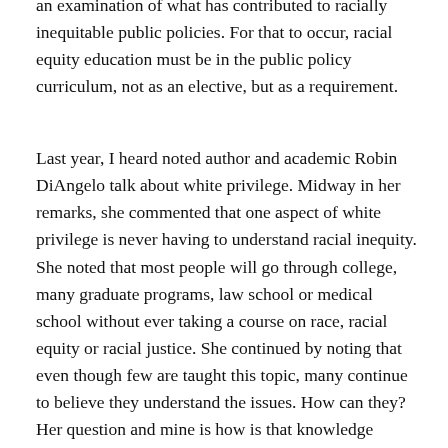an examination of what has contributed to racially inequitable public policies. For that to occur, racial equity education must be in the public policy curriculum, not as an elective, but as a requirement.
Last year, I heard noted author and academic Robin DiAngelo talk about white privilege. Midway in her remarks, she commented that one aspect of white privilege is never having to understand racial inequity. She noted that most people will go through college, many graduate programs, law school or medical school without ever taking a course on race, racial equity or racial justice. She continued by noting that even though few are taught this topic, many continue to believe they understand the issues. How can they? Her question and mine is how is that knowledge acquired? Why is it that so many people believe they understand racial equity without ever having been taught this? It seems they think of it as a lesson in politeness. As long as they treat people with respect,